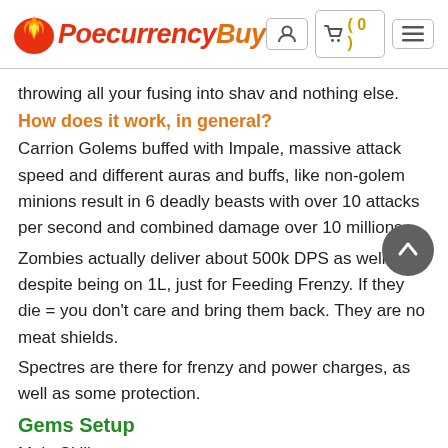PoecurrencyBuy — navigation header with cart icon showing 0 items
throwing all your fusing into shav and nothing else.
How does it work, in general?
Carrion Golems buffed with Impale, massive attack speed and different auras and buffs, like non-golem minions result in 6 deadly beasts with over 10 attacks per second and combined damage over 10 millions.
Zombies actually deliver about 500k DPS as well, despite being on 1L, just for Feeding Frenzy. If they die = you don't care and bring them back. They are no meat shields.
Spectres are there for frenzy and power charges, as well as some protection.
Gems Setup
Main Skill
Carrion Golems 5L: Carrion.Golem-Melee.Phys-Minion.Damage-Multistrike-Brutality